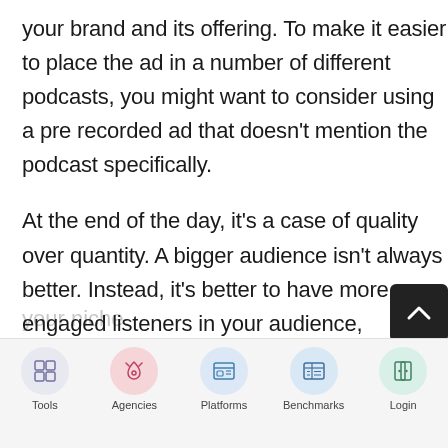your brand and its offering. To make it easier to place the ad in a number of different podcasts, you might want to consider using a pre recorded ad that doesn't mention the podcast specifically.
At the end of the day, it's a case of quality over quantity. A bigger audience isn't always better. Instead, it's better to have more engaged listeners in your audience, something you'll only get if you target podcasts relevant to your niche.
How long should your ads be...
[Figure (other): Navigation bar with five icon buttons: Tools (grid icon, purple-tinted circle), Agencies (rocket icon, pink circle), Platforms (browser icon, blue circle), Benchmarks (chart/table icon, light blue circle), Login (door/panel icon, green circle)]